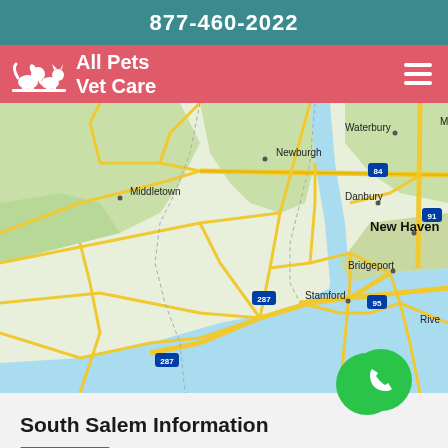877-460-2022
All Pets Vet Care
[Figure (map): Google Maps view showing the northeastern US region including Middletown, Newburgh, Danbury, New Haven, Bridgeport, Stamford, with highways 84, 91, 287, 95 visible, and a water body at the bottom right]
South Salem Information